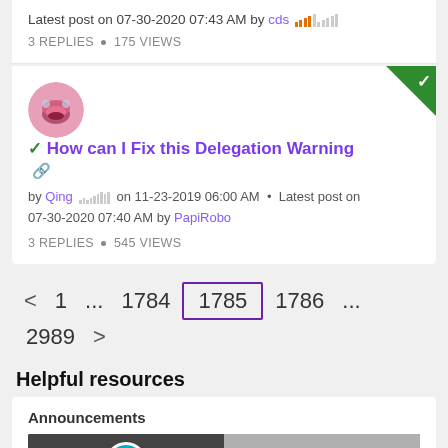Latest post on 07-30-2020 07:43 AM by cds
3 REPLIES • 175 VIEWS
[Figure (screenshot): User avatar - pink cartoon mouth/lips illustration]
✓ How can I Fix this Delegation Warning 📎 by Qing on 11-23-2019 06:00 AM • Latest post on 07-30-2020 07:40 AM by PapiRobo
3 REPLIES • 545 VIEWS
< 1 ... 1784 1785 1786 ... 2989 >
Helpful resources
Announcements